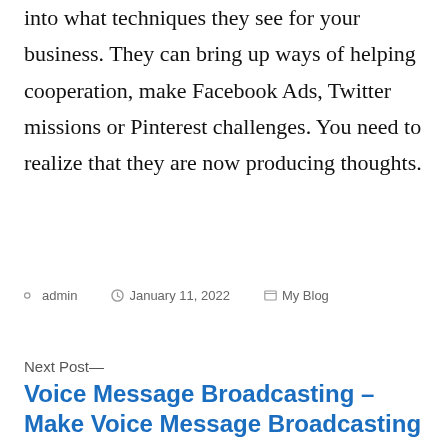into what techniques they see for your business. They can bring up ways of helping cooperation, make Facebook Ads, Twitter missions or Pinterest challenges. You need to realize that they are now producing thoughts.
Posted by admin  January 11, 2022  My Blog
Next Post— Voice Message Broadcasting – Make Voice Message Broadcasting